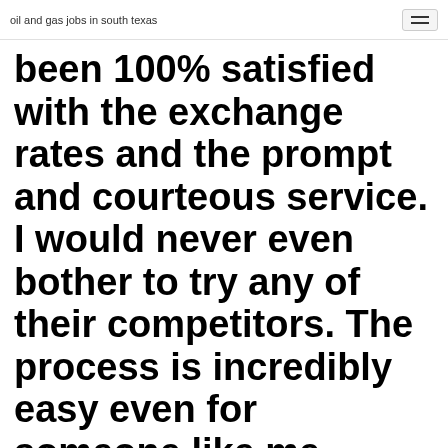oil and gas jobs in south texas
been 100% satisfied with the exchange rates and the prompt and courteous service. I would never even bother to try any of their competitors. The process is incredibly easy even for someone like me,
XE.com, which was established in 1993 in Ontario, Canada, is one of the Internet's first currency exchange rate providers. Nowadays, there are hundreds of websites offering up-to-date information (we also have our own foreign currency rates section ), but back when XE was established, there were none.